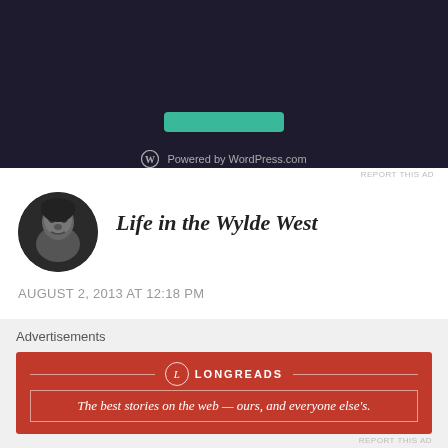[Figure (screenshot): WordPress.com advertisement banner with teal button and 'Powered by WordPress.com' text on dark background]
REPORT THIS AD
[Figure (photo): Circular avatar photo of a person looking upward, black and white]
Life in the Wylde West
AUGUST 2, 2013 AT 12:18 PM
heck, I don't know you but I'm proud of you! awesome work. You look great, I love that you feel great!
Like
Advertisements
[Figure (screenshot): Longreads advertisement banner — red background with logo and tagline: The best stories on the web — ours, and everyone else's.]
REPORT THIS AD